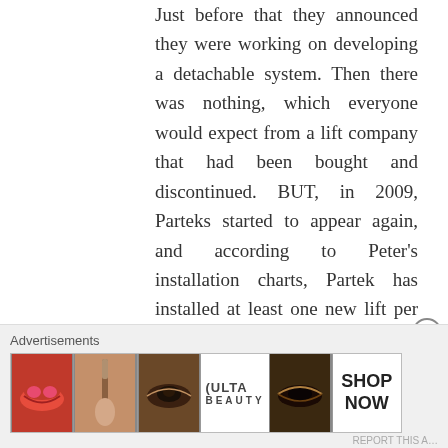Just before that they announced they were working on developing a detachable system. Then there was nothing, which everyone would expect from a lift company that had been bought and discontinued. BUT, in 2009, Parteks started to appear again, and according to Peter's installation charts, Partek has installed at least one new lift per year since then (except for 2011). I certainly haven't figured them out yet.
★ Liked by 2 people
↩ Reply
[Figure (other): Advertisements banner showing ULTA beauty advertisement with makeup-themed images including lips, brush, eyes, ULTA logo, and SHOP NOW button]